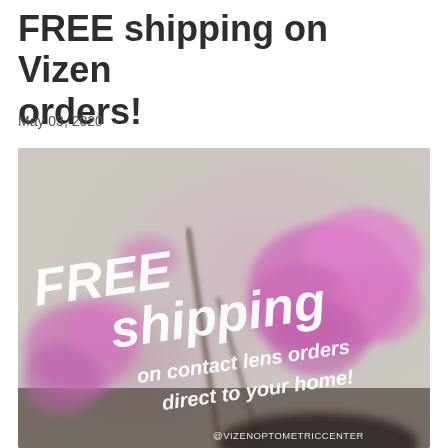FREE shipping on Vizen orders!
May 03, 2020
[Figure (photo): Promotional image with blurred pink orchid flowers on a light gray background. Bold white text reads 'FREE shipping on contact lens orders direct to your home!' with '@VIZENOPTOMETRICCENTER' in the lower right corner.]